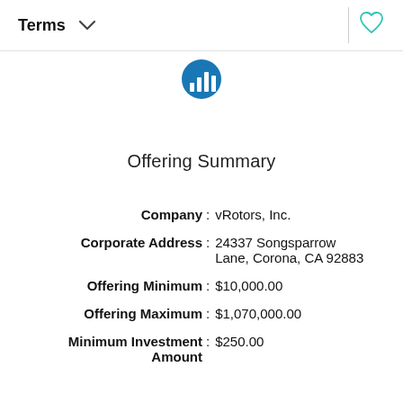Terms ∨ ♡
[Figure (logo): Blue circular logo with white bar chart icon]
Offering Summary
Company : vRotors, Inc.
Corporate Address : 24337 Songsparrow Lane, Corona, CA 92883
Offering Minimum : $10,000.00
Offering Maximum : $1,070,000.00
Minimum Investment Amount : $250.00